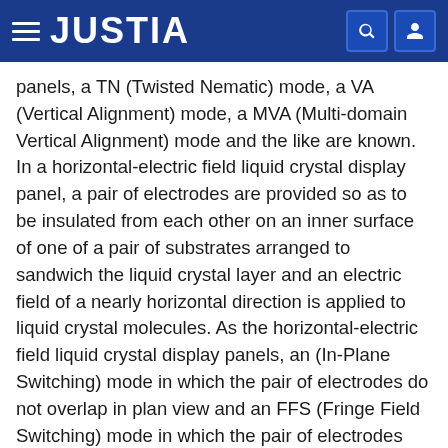JUSTIA
panels, a TN (Twisted Nematic) mode, a VA (Vertical Alignment) mode, a MVA (Multi-domain Vertical Alignment) mode and the like are known. In a horizontal-electric field liquid crystal display panel, a pair of electrodes are provided so as to be insulated from each other on an inner surface of one of a pair of substrates arranged to sandwich the liquid crystal layer and an electric field of a nearly horizontal direction is applied to liquid crystal molecules. As the horizontal-electric field liquid crystal display panels, an (In-Plane Switching) mode in which the pair of electrodes do not overlap in plan view and an FFS (Fringe Field Switching) mode in which the pair of electrodes overlap are known.
Among the above modes, in the FFS-mode liquid crystal display panel, a pair of electrodes including an upper electrode and a lower electrode are arranged at